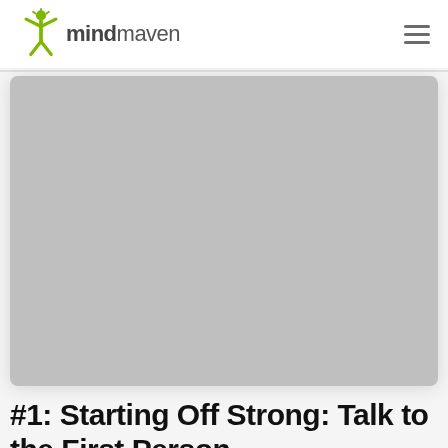mindmaven
[Figure (photo): Gray placeholder hero image with rounded corners]
#1: Starting Off Strong: Talk to the First Person